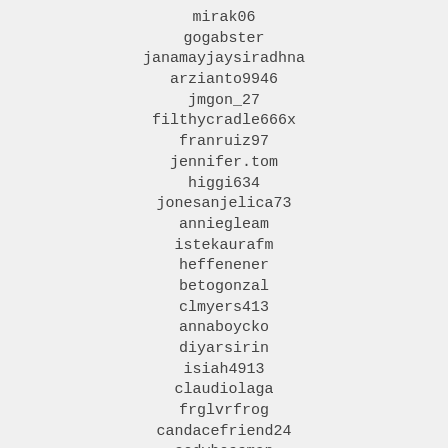mirak06
gogabster
janamayjaysiradhna
arzianto9946
jmgon_27
filthycradle666x
franruiz97
jennifer.tom
higgi634
jonesanjelica73
anniegleam
istekaurafm
heffenener
betogonzal
clmyers413
annaboycko
diyarsirin
isiah4913
claudiolaga
frglvrfrog
candacefriend24
codybossman
claudia.principessa
mattystrachan24